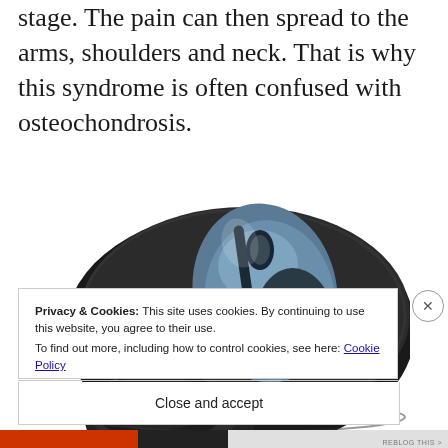stage. The pain can then spread to the arms, shoulders and neck. That is why this syndrome is often confused with osteochondrosis.
[Figure (photo): A black ergonomic mouse pad with wrist rest support, with a blue/grey wireless computer mouse resting on it.]
Privacy & Cookies: This site uses cookies. By continuing to use this website, you agree to their use.
To find out more, including how to control cookies, see here: Cookie Policy
Close and accept